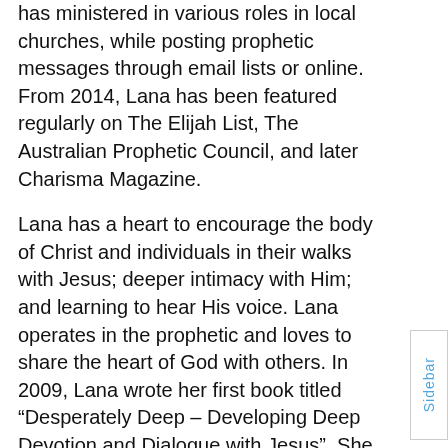and the greater body of Christ. Since then she has ministered in various roles in local churches, while posting prophetic messages through email lists or online. From 2014, Lana has been featured regularly on The Elijah List, The Australian Prophetic Council, and later Charisma Magazine.

Lana has a heart to encourage the body of Christ and individuals in their walks with Jesus; deeper intimacy with Him; and learning to hear His voice. Lana operates in the prophetic and loves to share the heart of God with others. In 2009, Lana wrote her first book titled “Desperately Deep – Developing Deep Devotion and Dialogue with Jesus”. She is a gifted